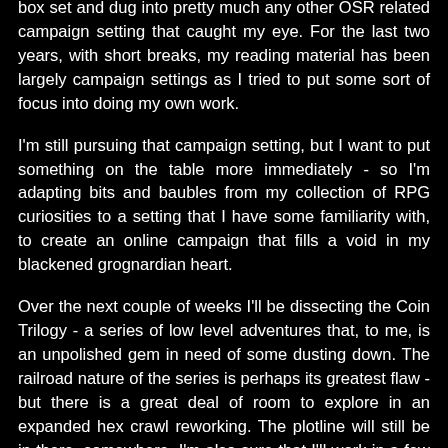box set and dug into pretty much any other OSR related campaign setting that caught my eye. For the last two years, with short breaks, my reading material has been largely campaign settings as I tried to put some sort of focus into doing my own work.
I'm still pursuing that campaign setting, but I want to put something on the table more immediately - so I'm adapting bits and baubles from my collection of RPG curiosities to a setting that I have some familiarity with, to create an online campaign that fills a void in my blackened grognardian heart.
Over the next couple of weeks I'll be dissecting the Coin Trilogy - a series of low level adventures that, to me, is an unpolished gem in need of some dusting down. The railroad nature of the series is perhaps its greatest flaw - but there is a great deal of room to explore in an expanded hex crawl reworking. The plotline will still be in there, somewhere. I'm also sure that I'll work in a few other adventure hooks from a variety of places, as I can never seem to leave that Frankenstein habit alone.
The next few posts will be examining the product, with an eye to...